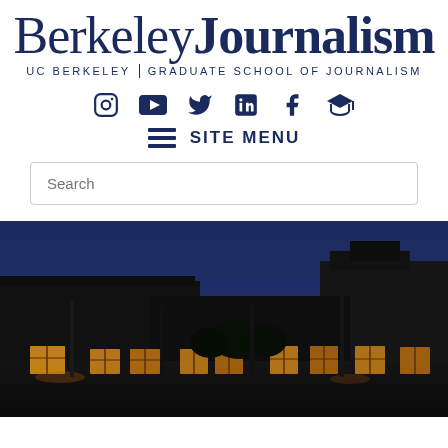[Figure (logo): Berkeley Journalism - UC Berkeley Graduate School of Journalism logo with serif wordmark]
[Figure (infographic): Social media icons: Instagram, YouTube, Twitter, LinkedIn, Facebook, Graduation cap]
SITE MENU
Search
[Figure (photo): Nighttime exterior photograph of a building with warm lit windows against a dark blue sky, likely the UC Berkeley Graduate School of Journalism building]